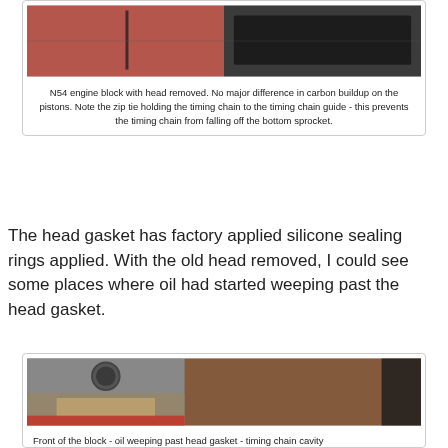[Figure (photo): N54 engine block with head removed, showing pistons and timing chain secured with zip tie to timing chain guide. Red engine stand visible.]
N54 engine block with head removed. No major difference in carbon buildup on the pistons. Note the zip tie holding the timing chain to the timing chain guide - this prevents the timing chain from falling off the bottom sprocket.
The head gasket has factory applied silicone sealing rings applied. With the old head removed, I could see some places where oil had started weeping past the head gasket.
[Figure (photo): Front of the engine block showing oil weeping past the head gasket in the timing chain cavity area. Engine block surface visible with cylinder bores.]
Front of the block - oil weeping past head gasket - timing chain cavity